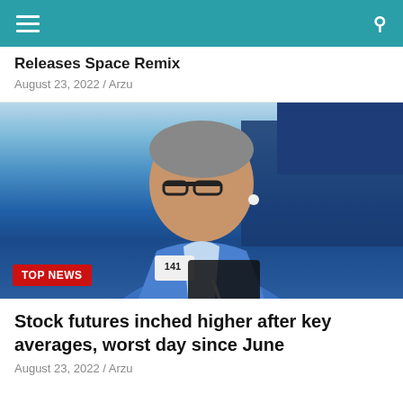Navigation bar with menu and search icons
Releases Space Remix
August 23, 2022 / Arzu
[Figure (photo): A stock trader wearing a blue jacket with badge number 141, holding a tablet and pen, with a white earbud in ear, photographed on a trading floor with blue background screens. A TOP NEWS badge appears in the lower left corner.]
Stock futures inched higher after key averages, worst day since June
August 23, 2022 / Arzu